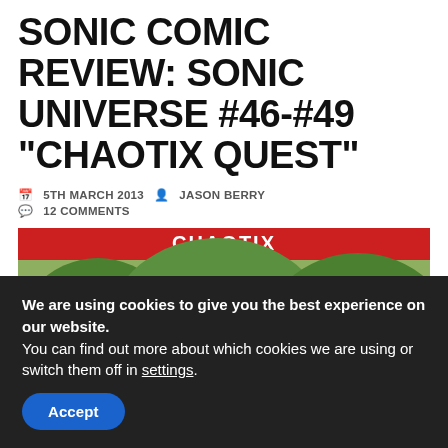SONIC COMIC REVIEW: SONIC UNIVERSE #46-#49 “CHAOTIX QUEST”
5TH MARCH 2013  JASON BERRY  12 COMMENTS
[Figure (illustration): Comic book cover art showing Chaotix characters: a green crocodile in the center with headphones and chains, white-gloved hands reaching from the left, and a pink clown-like character on the right, against a jungle/forest background with red banner at top.]
We are using cookies to give you the best experience on our website.
You can find out more about which cookies we are using or switch them off in settings.
Accept